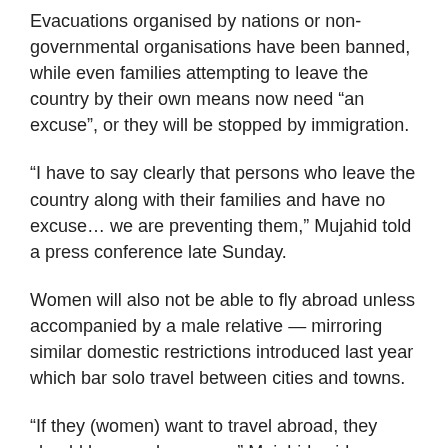Evacuations organised by nations or non-governmental organisations have been banned, while even families attempting to leave the country by their own means now need “an excuse”, or they will be stopped by immigration.
“I have to say clearly that persons who leave the country along with their families and have no excuse… we are preventing them,” Mujahid told a press conference late Sunday.
Women will also not be able to fly abroad unless accompanied by a male relative — mirroring similar domestic restrictions introduced last year which bar solo travel between cities and towns.
“If they (women) want to travel abroad, they should have a chaperone,” Mujahid said.
“This is the order of Islamic sharia law.”